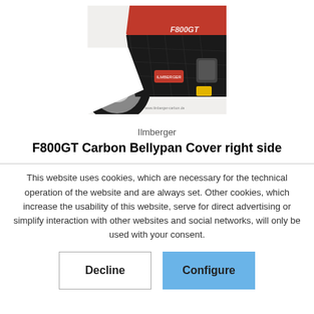[Figure (photo): Photo of a motorcycle (BMW F800GT) showing the carbon bellypan cover on the right side, with red bodywork and black carbon fiber panel visible, partial wheel in background.]
Ilmberger
F800GT Carbon Bellypan Cover right side
This website uses cookies, which are necessary for the technical operation of the website and are always set. Other cookies, which increase the usability of this website, serve for direct advertising or simplify interaction with other websites and social networks, will only be used with your consent.
Decline
Configure